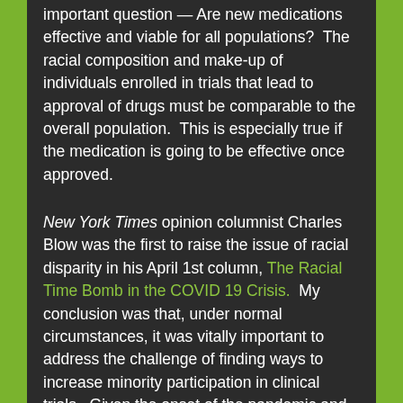important question — Are new medications effective and viable for all populations?  The racial composition and make-up of individuals enrolled in trials that lead to approval of drugs must be comparable to the overall population.  This is especially true if the medication is going to be effective once approved.
New York Times opinion columnist Charles Blow was the first to raise the issue of racial disparity in his April 1st column, The Racial Time Bomb in the COVID 19 Crisis.  My conclusion was that, under normal circumstances, it was vitally important to address the challenge of finding ways to increase minority participation in clinical trials.  Given the onset of the pandemic and its affects on African-Americans, it is absolutely critical.  Diversity and inclusion is not a nice thing to do. It is a bridge to